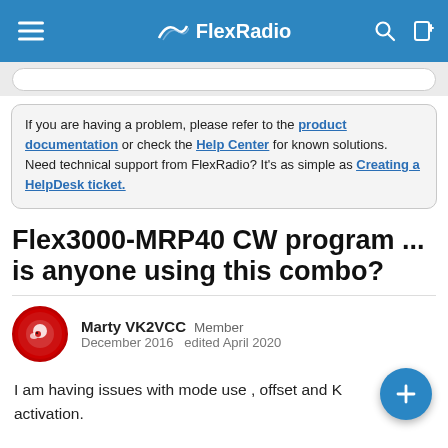FlexRadio
If you are having a problem, please refer to the product documentation or check the Help Center for known solutions.
Need technical support from FlexRadio? It's as simple as Creating a HelpDesk ticket.
Flex3000-MRP40 CW program ... is anyone using this combo?
Marty VK2VCC  Member
December 2016  edited April 2020
I am having issues with mode use , offset and K activation.